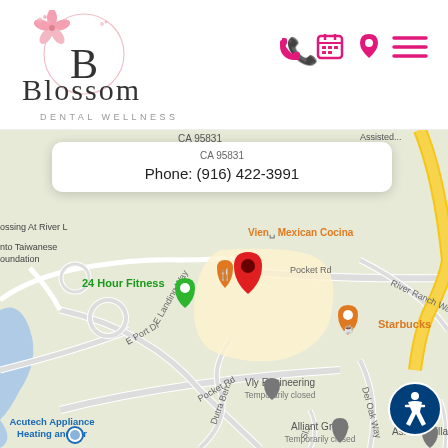[Figure (logo): Blossom Dental Wellness logo with cherry blossom flower graphic and letter B in circle]
[Figure (infographic): Navigation icons: pink phone, pink calendar, pink location pin, pink hamburger menu]
CA 95831
Phone: (916) 422-3991
[Figure (map): Google Maps screenshot showing area around Pocket Rd in Sacramento CA. Labels include: Crossing At River L, Sacramento Taiwanese Foundation, 24 Hour Fitness, Viento Mexican Cocina, Starbucks, E Port Dr, E Landing Way, Pocket Rd, River Ranch Way, Vly Engineering (Temporarily closed), Alliant Group (Temporarily closed), Ashford Villa, Acutech Appliance Heating and Air, Del Oak Way. Map pins include green pin, orange fork/knife pin, red location pin, orange Starbucks pin, grey pins for businesses.]
[Figure (infographic): Accessibility icon button (wheelchair symbol in blue circle) in bottom right corner]